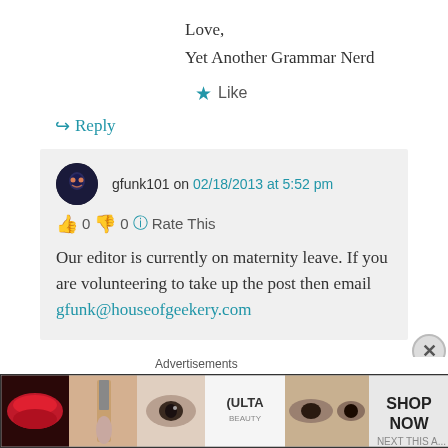Love,
Yet Another Grammar Nerd
★ Like
↳ Reply
gfunk101 on 02/18/2013 at 5:52 pm
👍 0 👎 0 ℹ Rate This
Our editor is currently on maternity leave. If you are volunteering to take up the post then email gfunk@houseofgeekery.com
Advertisements
[Figure (photo): Ulta Beauty advertisement banner showing makeup-related images including lips, brushes, eyes, and the Ulta Beauty logo with SHOP NOW text]